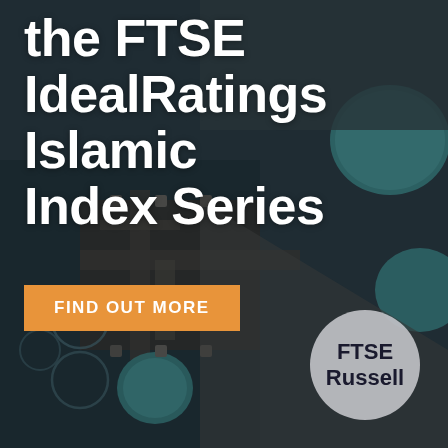[Figure (photo): Aerial view of ornate Islamic architecture with teal domed structures and water features, shot from above, with dark overlay]
the FTSE IdealRatings Islamic Index Series
FIND OUT MORE
FTSE Russell